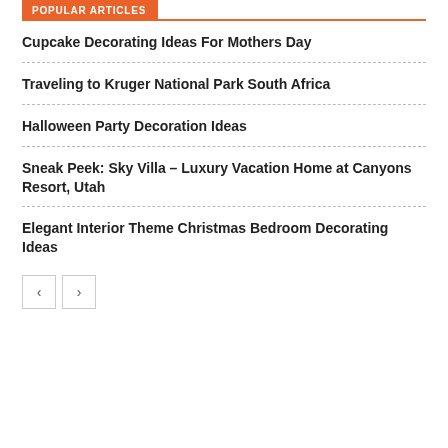POPULAR ARTICLES
Cupcake Decorating Ideas For Mothers Day
Traveling to Kruger National Park South Africa
Halloween Party Decoration Ideas
Sneak Peek: Sky Villa – Luxury Vacation Home at Canyons Resort, Utah
Elegant Interior Theme Christmas Bedroom Decorating Ideas